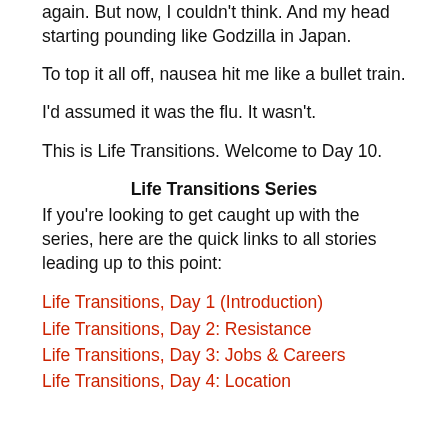again. But now, I couldn't think. And my head starting pounding like Godzilla in Japan.
To top it all off, nausea hit me like a bullet train.
I'd assumed it was the flu. It wasn't.
This is Life Transitions. Welcome to Day 10.
Life Transitions Series
If you're looking to get caught up with the series, here are the quick links to all stories leading up to this point:
Life Transitions, Day 1 (Introduction)
Life Transitions, Day 2: Resistance
Life Transitions, Day 3: Jobs & Careers
Life Transitions, Day 4: Location